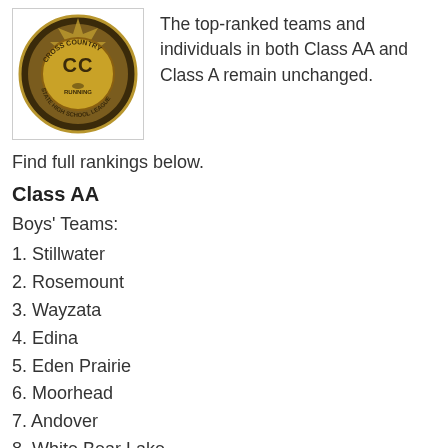[Figure (logo): Cross Country Running State High School League logo — circular badge with gold and brown colors, 'CC' monogram and runner silhouette in center]
The top-ranked teams and individuals in both Class AA and Class A remain unchanged.
Find full rankings below.
Class AA
Boys' Teams:
1. Stillwater
2. Rosemount
3. Wayzata
4. Edina
5. Eden Prairie
6. Moorhead
7. Andover
8. White Bear Lake
9. Eastview
10. Hopkins
11. Centennial